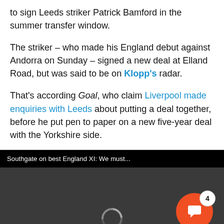to sign Leeds striker Patrick Bamford in the summer transfer window.
The striker – who made his England debut against Andorra on Sunday – signed a new deal at Elland Road, but was said to be on Klopp's radar.
That's according Goal, who claim Liverpool made enquiries with Leeds about putting a deal together, before he put pen to paper on a new five-year deal with the Yorkshire side.
[Figure (screenshot): Video player thumbnail with title bar reading 'Southgate on best England XI: We must...' on black background, dark gray video area with loading spinner and an orange circular chat/comment button with badge showing '4']